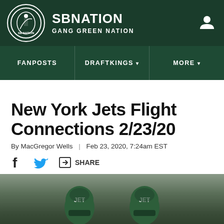SB NATION | GANG GREEN NATION
FANPOSTS | DRAFTKINGS | MORE
New York Jets Flight Connections 2/23/20
By MacGregor Wells | Feb 23, 2020, 7:24am EST
SHARE
[Figure (photo): Two New York Jets players wearing green helmets with Jets logo on the field]